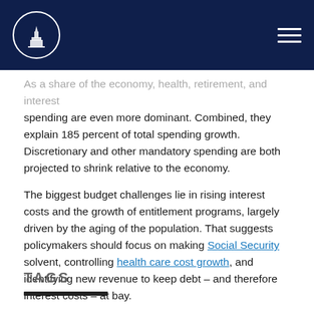[Government website header with logo and navigation menu]
As a share of the economy, health, retirement, and interest spending are even more dominant. Combined, they explain 185 percent of total spending growth. Discretionary and other mandatory spending are both projected to shrink relative to the economy.
The biggest budget challenges lie in rising interest costs and the growth of entitlement programs, largely driven by the aging of the population. That suggests policymakers should focus on making Social Security solvent, controlling health care cost growth, and identifying new revenue to keep debt – and therefore interest costs – at bay.
TAGS